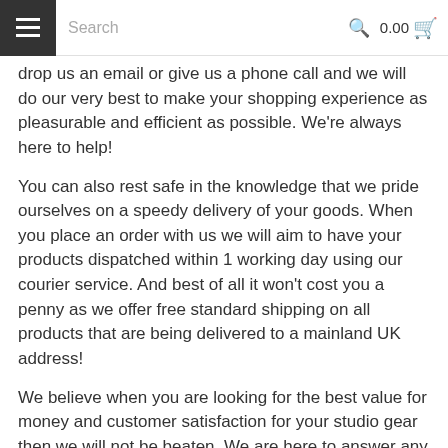Search | 0.00
drop us an email or give us a phone call and we will do our very best to make your shopping experience as pleasurable and efficient as possible. We're always here to help!
You can also rest safe in the knowledge that we pride ourselves on a speedy delivery of your goods. When you place an order with us we will aim to have your products dispatched within 1 working day using our courier service. And best of all it won't cost you a penny as we offer free standard shipping on all products that are being delivered to a mainland UK address!
We believe when you are looking for the best value for money and customer satisfaction for your studio gear then we will not be beaten. We are here to answer any questions you might have.
Email: info@photogeeks.co.uk
Telephone Number: 0191 2674006